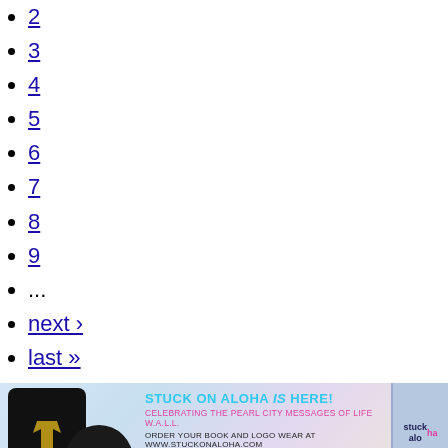2
3
4
5
6
7
8
9
...
next ›
last »
[Figure (illustration): Stuck on Aloha banner advertisement showing a black t-shirt and cap, with text: STUCK ON ALOHA is HERE! CELEBRATING THE PEARL CITY MESSAGES OF LIFE W.A.L.L. ORDER YOUR BOOK AND LOGO WEAR AT WWW.STUCKONALOHA.COM]
PCSC Biz Spotlight
[Figure (photo): A partially loaded image placeholder with a small green icon in the top-left corner]